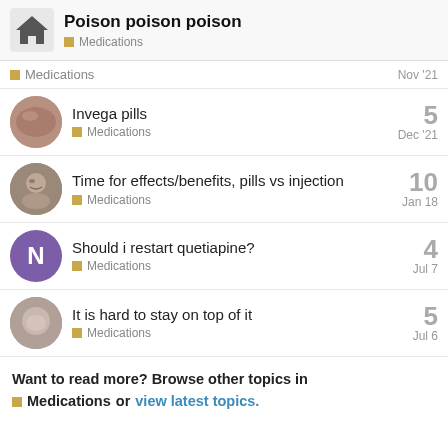Poison poison poison — Medications
Medications — Nov '21
Invega pills — Medications — Dec '21 — 5 replies
Time for effects/benefits, pills vs injection — Medications — Jan 18 — 10 replies
Should i restart quetiapine? — Medications — Jul 7 — 4 replies
It is hard to stay on top of it — Medications — Jul 6 — 5 replies
Want to read more? Browse other topics in Medications or view latest topics.